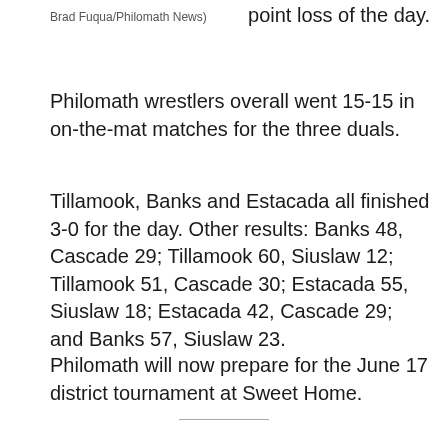Brad Fuqua/Philomath News)
point loss of the day.
Philomath wrestlers overall went 15-15 in on-the-mat matches for the three duals.
Tillamook, Banks and Estacada all finished 3-0 for the day. Other results: Banks 48, Cascade 29; Tillamook 60, Siuslaw 12; Tillamook 51, Cascade 30; Estacada 55, Siuslaw 18; Estacada 42, Cascade 29; and Banks 57, Siuslaw 23.
Philomath will now prepare for the June 17 district tournament at Sweet Home.